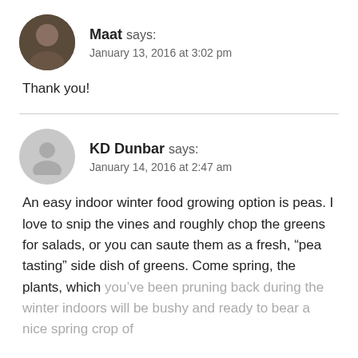Maat says: January 13, 2016 at 3:02 pm
Thank you!
KD Dunbar says: January 14, 2016 at 2:47 am
An easy indoor winter food growing option is peas. I love to snip the vines and roughly chop the greens for salads, or you can saute them as a fresh, “pea tasting” side dish of greens. Come spring, the plants, which you’ve been pruning back during the winter indoors will be bushy and ready to bear a nice spring crop of